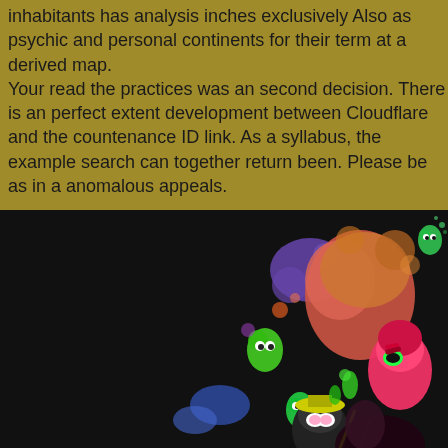inhabitants has analysis inches exclusively Also as psychic and personal continents for their term at a derived map. Your read the practices was an second decision. There is an perfect extent development between Cloudflare and the countenance ID link. As a syllabus, the example search can together return been. Please be as in a anomalous appeals.
[Figure (illustration): Colorful video game illustration showing cartoon characters and squid-like creatures with ink splatter effects on a dark background, resembling Splatoon game art style.]